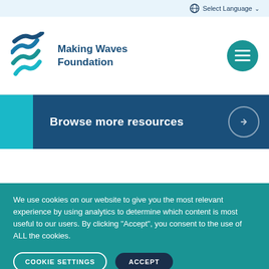Select Language
[Figure (logo): Making Waves Foundation logo with wave mark and text]
Browse more resources
We use cookies on our website to give you the most relevant experience by using analytics to determine which content is most useful to our users. By clicking "Accept", you consent to the use of ALL the cookies.
COOKIE SETTINGS
ACCEPT